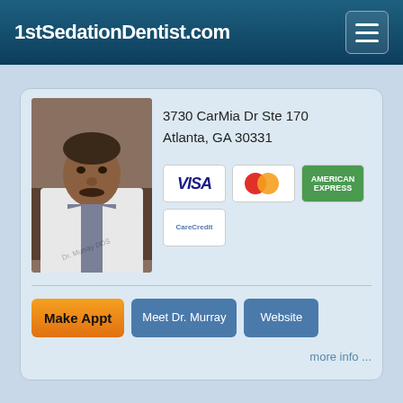1stSedationDentist.com
[Figure (photo): Portrait photo of Dr. Murray in a white lab coat]
3730 CarMia Dr Ste 170
Atlanta, GA 30331
[Figure (other): Payment method icons: VISA, MasterCard, American Express, CareCredit]
Make Appt
Meet Dr. Murray
Website
more info ...